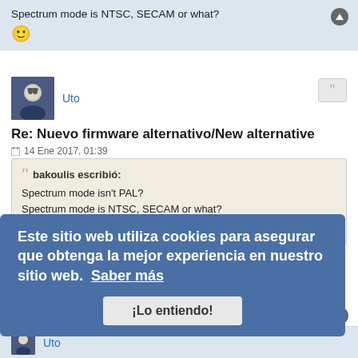Spectrum mode is NTSC, SECAM or what?
Uto
Re: Nuevo firmware alternativo/New alternative firmware
14 Ene 2017, 01:39
bakoulis escribió:
Spectrum mode isn't PAL?
Spectrum mode is NTSC, SECAM or what?
Hard for me to say, I don't understand all that stuff much, but as far as I know that setting is only about the csync signal. On that signal Spectrum mode is unique, close to PAL but not exact.

Some TVs need standard PAL, if your TV shows image properly don't install that firmware, if not, use ZXUC, go to Turbo/Freq settings, change COPT to PAL, and if you feel the image is better, then that firmware is for you.
Este sitio web utiliza cookies para asegurar que obtenga la mejor experiencia en nuestro sitio web.  Saber más
¡Lo entiendo!
Uto